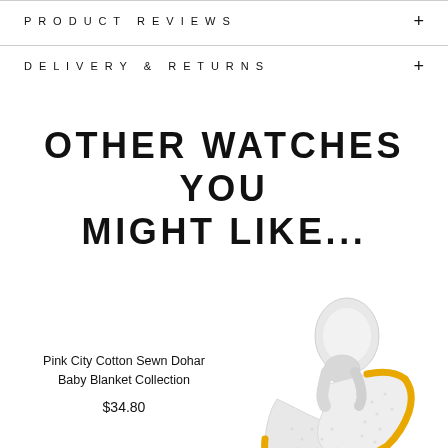PRODUCT REVIEWS
DELIVERY & RETURNS
OTHER WATCHES YOU MIGHT LIKE...
Pink City Cotton Sewn Dohar Baby Blanket Collection
$34.80
[Figure (photo): A white and light grey patterned baby blanket scarf/dohar with yellow border trim, folded and twisted to show texture.]